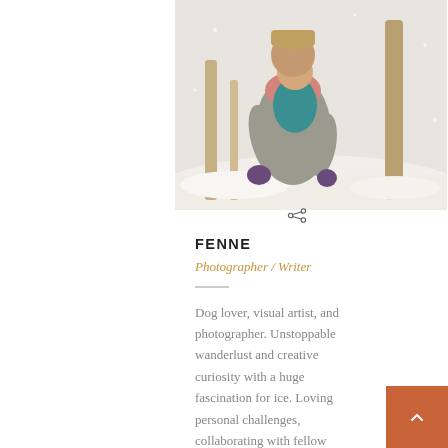[Figure (photo): A woman in winter clothing (grey sweater, pink patterned scarf, purple gloves) holding a young child in a teal jacket, standing outdoors in a snowy winter scene with bare trees in the background.]
FENNE
Photographer / Writer
Dog lover, visual artist, and photographer. Unstoppable wanderlust and creative curiosity with a huge fascination for ice. Loving personal challenges, collaborating with fellow creatives and inspiring others to seek their limits, live the